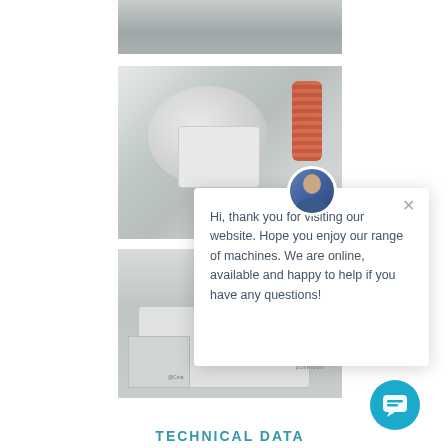[Figure (photo): Top photo showing a manufacturing/industrial facility interior with equipment]
[Figure (photo): Close-up photo of an industrial machine arm or mixing head, white cylindrical component with warning label and red coil cable]
[Figure (photo): Photo of a Poseidon machine by CMA, industrial processing equipment in white]
Hi, thank you for visiting our website. Hope you enjoy our range of machines. We are online, available and happy to help if you have any questions!
TECHNICAL DATA